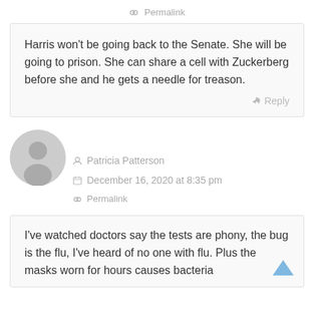Permalink
Harris won't be going back to the Senate. She will be going to prison. She can share a cell with Zuckerberg before she and he gets a needle for treason.
Reply
[Figure (illustration): Generic gray user avatar icon]
Patricia Patterson
December 16, 2020 at 8:35 pm
Permalink
I've watched doctors say the tests are phony, the bug is the flu, I've heard of no one with flu. Plus the masks worn for hours causes bacteria